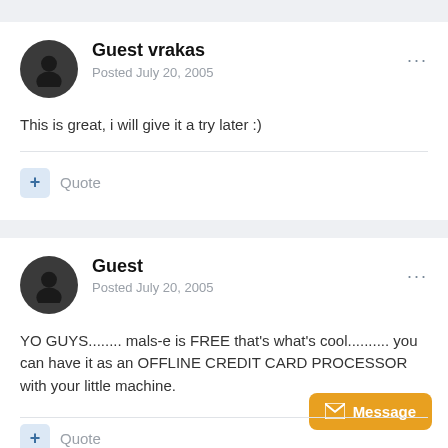Guest vrakas
Posted July 20, 2005
This is great, i will give it a try later :)
Quote
Guest
Posted July 20, 2005
YO GUYS........ mals-e is FREE that's what's cool.......... you can have it as an OFFLINE CREDIT CARD PROCESSOR with your little machine.
Message
Quote